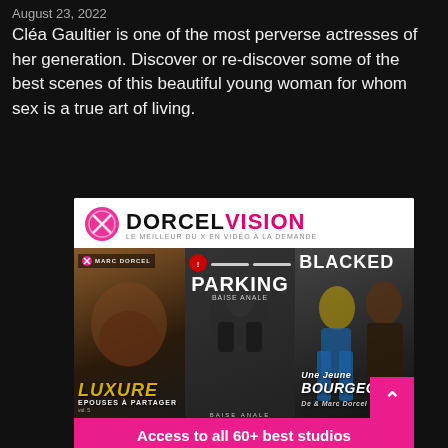August 23, 2022
Cléa Gaultier is one of the most perverse actresses of her generation. Discover or re-discover some of the best scenes of this beautiful young woman for whom sex is a true art of living.
[Figure (infographic): Dorcel Vision advertisement banner showing three adult film covers (Luxure - Epouses à Partager, Parking - Baise Anale, and Blacked / Une Jeune Bourgeoise) with a pink scroll button and footer text reading 'Access to all 60+ best studios & 2000+ videos and growing']